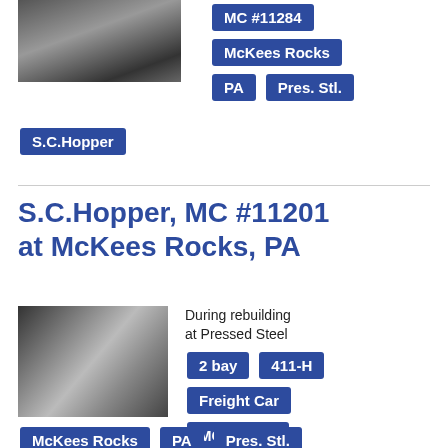[Figure (photo): Black and white photo of a freight railcar or industrial scene with a ladder visible, top section]
MC #11284
McKees Rocks
PA
Pres. Stl.
S.C.Hopper
S.C.Hopper, MC #11201 at McKees Rocks, PA
[Figure (photo): Black and white photo of a freight hopper car being rebuilt at Pressed Steel facility, with a worker visible]
During rebuilding at Pressed Steel
2 bay
411-H
Freight Car
MC #11201
McKees Rocks
PA
Pres. Stl.